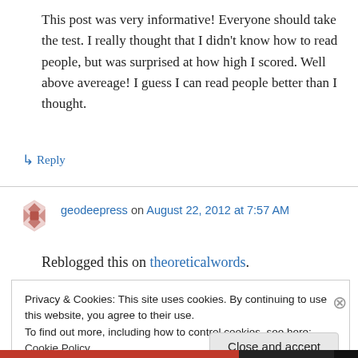This post was very informative! Everyone should take the test. I really thought that I didn't know how to read people, but was surprised at how high I scored. Well above avereage! I guess I can read people better than I thought.
↳ Reply
geodeepress on August 22, 2012 at 7:57 AM
Reblogged this on theoreticalwords.
Privacy & Cookies: This site uses cookies. By continuing to use this website, you agree to their use.
To find out more, including how to control cookies, see here: Cookie Policy
Close and accept